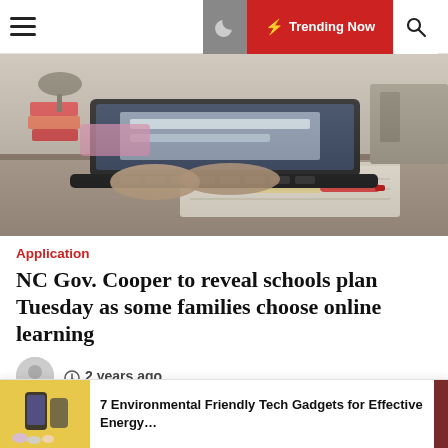≡  🌙  ⚡ Trending Now  🔍
[Figure (photo): Person typing on a black laptop at a kitchen counter with notebooks and markers nearby, books stacked in background]
Application
NC Gov. Cooper to reveal schools plan Tuesday as some families choose online learning
2 years ago
As Gov. Roy Cooper prepares to announce his plans Tuesday for North Carolina's public schools this fall, thousands of
[Figure (photo): Ad banner: 7 Environmental Friendly Tech Gadgets for Effective Energy...]